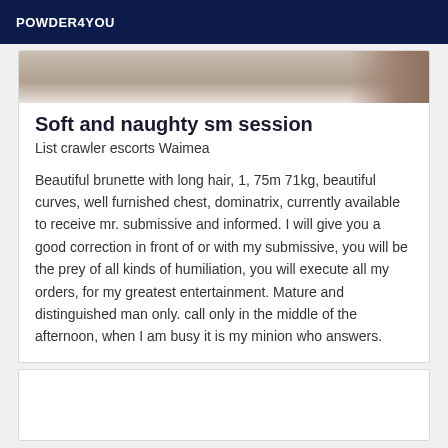POWDER4YOU
[Figure (photo): Partial photo strip showing a blurred background with a person visible at the right edge]
Soft and naughty sm session
List crawler escorts Waimea
Beautiful brunette with long hair, 1, 75m 71kg, beautiful curves, well furnished chest, dominatrix, currently available to receive mr. submissive and informed. I will give you a good correction in front of or with my submissive, you will be the prey of all kinds of humiliation, you will execute all my orders, for my greatest entertainment. Mature and distinguished man only. call only in the middle of the afternoon, when I am busy it is my minion who answers.